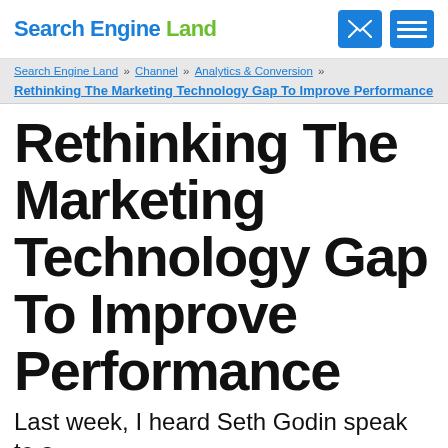Search Engine Land
Search Engine Land » Channel » Analytics & Conversion » Rethinking The Marketing Technology Gap To Improve Performance
Rethinking The Marketing Technology Gap To Improve Performance
Last week, I heard Seth Godin speak to a